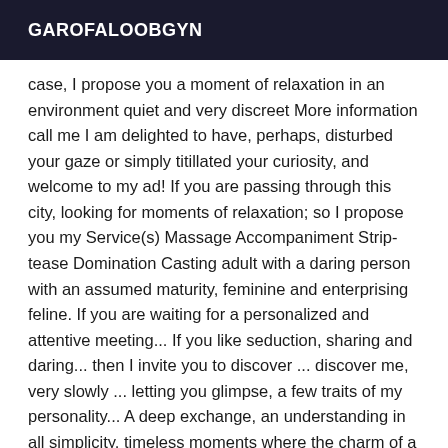GAROFALOOBGYN
case, I propose you a moment of relaxation in an environment quiet and very discreet More information call me I am delighted to have, perhaps, disturbed your gaze or simply titillated your curiosity, and welcome to my ad! If you are passing through this city, looking for moments of relaxation; so I propose you my Service(s) Massage Accompaniment Strip-tease Domination Casting adult with a daring person with an assumed maturity, feminine and enterprising feline. If you are waiting for a personalized and attentive meeting... If you like seduction, sharing and daring... then I invite you to discover ... discover me, very slowly ... letting you glimpse, a few traits of my personality... A deep exchange, an understanding in all simplicity, timeless moments where the charm of a story is written in two ... or ... Shhhh !! I won't say more..., not right away... And you gentlemen, how do you imagine these shared moments ? I let you think about it ... and maybe, you